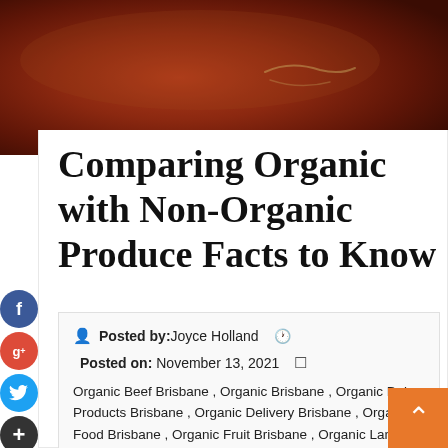[Figure (photo): Dark reddish-brown close-up photo of what appears to be a ceramic or earthenware bowl/plate, used as a hero banner image at the top of a blog post about organic produce.]
Comparing Organic with Non-Organic Produce Facts to Know
Posted by: Joyce Holland
Posted on: November 13, 2021
Organic Beef Brisbane , Organic Brisbane , Organic Dairy Products Brisbane , Organic Delivery Brisbane , Organic Food Brisbane , Organic Fruit Brisbane , Organic Lamb Brisbane ,